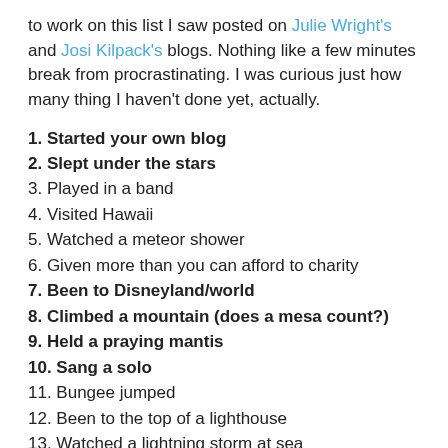to work on this list I saw posted on Julie Wright's and Josi Kilpack's blogs. Nothing like a few minutes break from procrastinating. I was curious just how many thing I haven't done yet, actually.
1. Started your own blog
2. Slept under the stars
3. Played in a band
4. Visited Hawaii
5. Watched a meteor shower
6. Given more than you can afford to charity
7. Been to Disneyland/world
8. Climbed a mountain (does a mesa count?)
9. Held a praying mantis
10. Sang a solo
11. Bungee jumped
12. Been to the top of a lighthouse
13. Watched a lightning storm at sea
14. Taught yourself an art from scratch